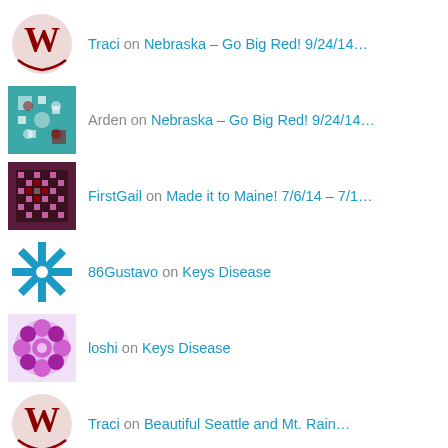Traci on Nebraska – Go Big Red! 9/24/14…
Arden on Nebraska – Go Big Red! 9/24/14…
FirstGail on Made it to Maine! 7/6/14 – 7/1…
86Gustavo on Keys Disease
loshi on Keys Disease
Traci on Beautiful Seattle and Mt. Rain…
Ken/Karen Carpenter on Beautiful Seattle and Mt. Rain…
там on Keys Disease
Traci on Re-Entry
Traci on Re-Entry
Brenda Grimm on Re-Entry